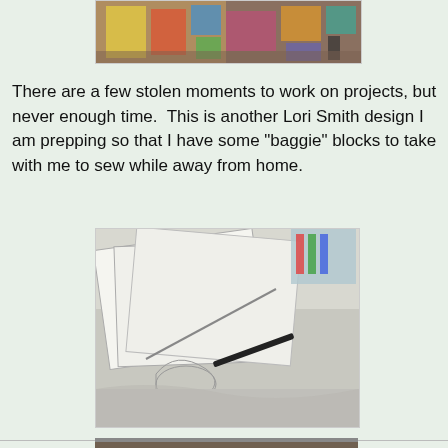[Figure (photo): A colorful collage or puzzle spread out on a wooden table, with a phone visible in the upper right corner.]
There are a few stolen moments to work on projects, but never enough time.  This is another Lori Smith design I am prepping so that I have some "baggie" blocks to take with me to sew while away from home.
[Figure (photo): Paper quilt pattern templates/sheets scattered on a desk, with a pencil and some markers/art supplies visible in the background.]
[Figure (photo): Another photo partially visible at the bottom of the page.]